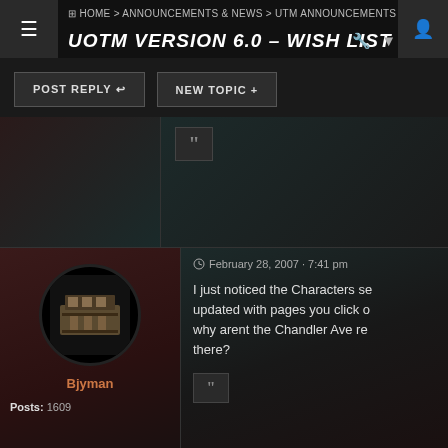HOME > ANNOUNCEMENTS & NEWS > UTM ANNOUNCEMENTS
UOTM VERSION 6.0 – WISH LIST
POST REPLY
NEW TOPIC +
February 28, 2007 · 7:41 pm
I just noticed the Characters section was updated with pages you click on... but why arent the Chandler Ave residents there?
Bjyman
Posts: 1609